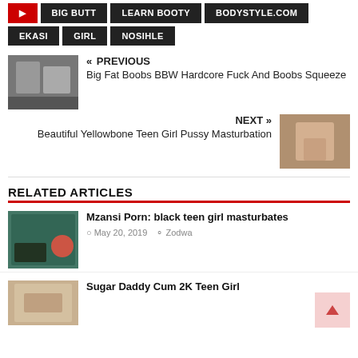EKASI
GIRL
NOSIHLE
« PREVIOUS
Big Fat Boobs BBW Hardcore Fuck And Boobs Squeeze
NEXT »
Beautiful Yellowbone Teen Girl Pussy Masturbation
RELATED ARTICLES
Mzansi Porn: black teen girl masturbates
May 20, 2019  Zodwa
Sugar Daddy Cum 2K Teen Girl